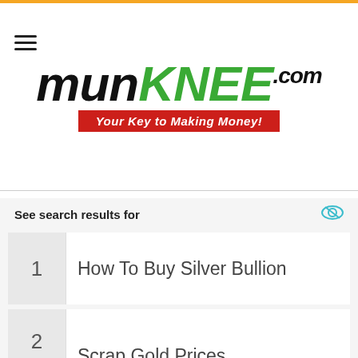[Figure (logo): munKNEE.com logo with tagline 'Your Key to Making Money!']
See search results for
1 How To Buy Silver Bullion
2 Scrap Gold Prices